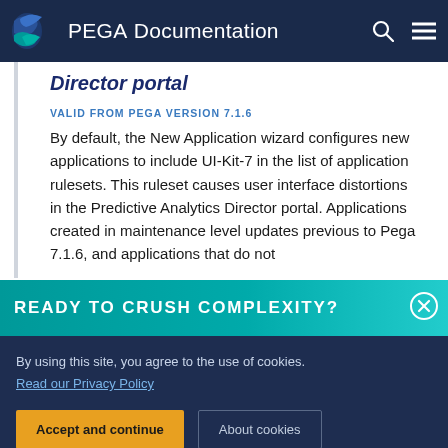PEGA Documentation
Director portal
VALID FROM PEGA VERSION 7.1.6
By default, the New Application wizard configures new applications to include UI-Kit-7 in the list of application rulesets. This ruleset causes user interface distortions in the Predictive Analytics Director portal. Applications created in maintenance level updates previous to Pega 7.1.6, and applications that do not
READY TO CRUSH COMPLEXITY?
By using this site, you agree to the use of cookies.
Read our Privacy Policy
Accept and continue
About cookies